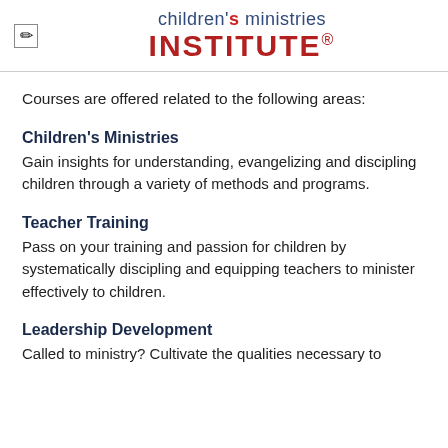[Figure (logo): Children's Ministries Institute logo with menu icon]
Courses are offered related to the following areas:
Children's Ministries
Gain insights for understanding, evangelizing and discipling children through a variety of methods and programs.
Teacher Training
Pass on your training and passion for children by systematically discipling and equipping teachers to minister effectively to children.
Leadership Development
Called to ministry? Cultivate the qualities necessary to